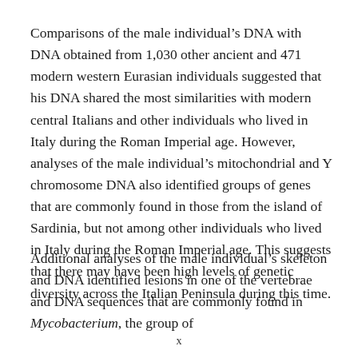Comparisons of the male individual’s DNA with DNA obtained from 1,030 other ancient and 471 modern western Eurasian individuals suggested that his DNA shared the most similarities with modern central Italians and other individuals who lived in Italy during the Roman Imperial age. However, analyses of the male individual’s mitochondrial and Y chromosome DNA also identified groups of genes that are commonly found in those from the island of Sardinia, but not among other individuals who lived in Italy during the Roman Imperial age. This suggests that there may have been high levels of genetic diversity across the Italian Peninsula during this time.
Additional analyses of the male individual’s skeleton and DNA identified lesions in one of the vertebrae and DNA sequences that are commonly found in Mycobacterium, the group of
x